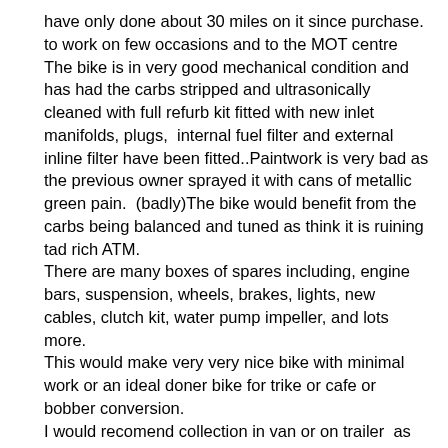have only done about 30 miles on it since purchase. to work on few occasions and to the MOT centre
The bike is in very good mechanical condition and has had the carbs stripped and ultrasonically cleaned with full refurb kit fitted with new inlet manifolds, plugs,  internal fuel filter and external inline filter have been fitted..Paintwork is very bad as the previous owner sprayed it with cans of metallic green pain.  (badly)The bike would benefit from the carbs being balanced and tuned as think it is ruining tad rich ATM.
There are many boxes of spares including, engine bars, suspension, wheels, brakes, lights, new cables, clutch kit, water pump impeller, and lots more.
This would make very very nice bike with minimal work or an ideal doner bike for trike or cafe or bobber conversion.
I would recomend collection in van or on trailer  as there are lot of boxes and have done very minimal miles on the bike.  Engine starts and runs well with no smoke or rattles, at the moment the battery is dead, but starts easily with jump.
Viewing is very welcome with prior arrangement  however will not allow test rides as have had bike written of in the past.
Cash on collection only. I will be out of the country from the 29th till the 2nd. so please bare this in mind with regard to collection